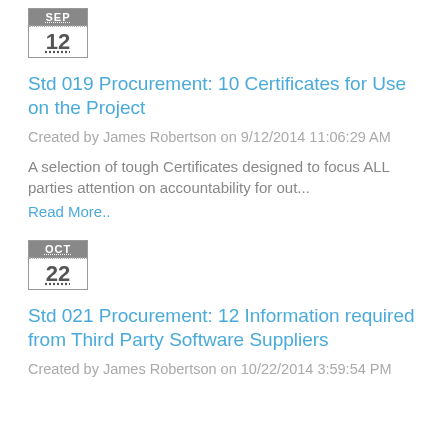[Figure (other): Calendar icon showing SEP 12]
Std 019 Procurement: 10 Certificates for Use on the Project
Created by James Robertson on 9/12/2014 11:06:29 AM
A selection of tough Certificates designed to focus ALL parties attention on accountability for out...
Read More..
[Figure (other): Calendar icon showing OCT 22]
Std 021 Procurement: 12 Information required from Third Party Software Suppliers
Created by James Robertson on 10/22/2014 3:59:54 PM